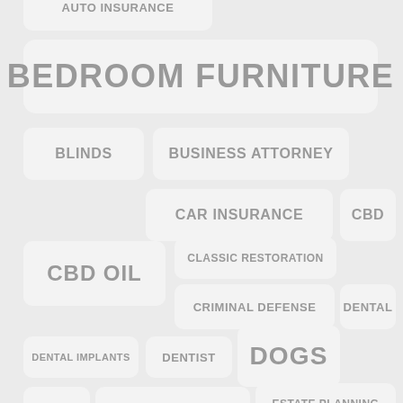AUTO INSURANCE
BEDROOM FURNITURE
BLINDS
BUSINESS ATTORNEY
CAR INSURANCE
CBD
CBD OIL
CLASSIC RESTORATION
CRIMINAL DEFENSE
DENTAL
DENTAL IMPLANTS
DENTIST
DOGS
DWI
EARPLUG LAWSUIT
ESTATE PLANNING
FURNITURE